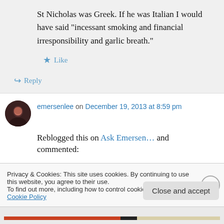St Nicholas was Greek. If he was Italian I would have said “incessant smoking and financial irresponsibility and garlic breath.”
★ Like
↳ Reply
emersenlee on December 19, 2013 at 8:59 pm
Reblogged this on Ask Emersen… and commented:
Privacy & Cookies: This site uses cookies. By continuing to use this website, you agree to their use.
To find out more, including how to control cookies, see here: Cookie Policy
Close and accept